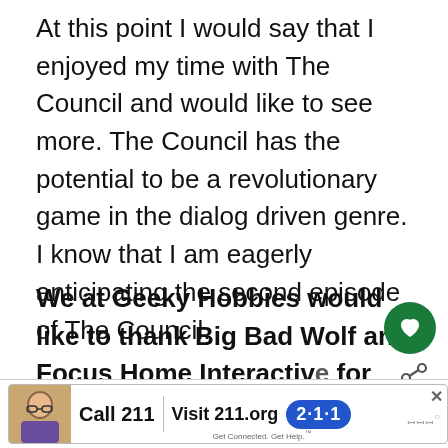At this point I would say that I enjoyed my time with The Council and would like to see more. The Council has the potential to be a revolutionary game in the dialog driven genre. I know that I am eagerly anticipating the second episode of The Council.
We at Geeky Hobbies would like to thank Big Bad Wolf and Focus Home Interactive for the review copy of The Council used for this review. Other than receiving a free copy of the game to review, we at Geeky Hobbies received no other compensation fo...
[Figure (screenshot): UI overlay with heart/like button (green circle with heart icon) and share button]
[Figure (screenshot): WHAT'S NEXT panel showing Megaquarium Indie Game... with circular logo]
[Figure (screenshot): Advertisement banner: Call 211 | Visit 211.org with 2-1-1 badge logo, person on phone image]